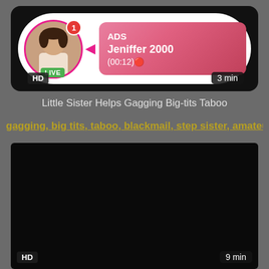[Figure (screenshot): Ad banner with live stream profile: avatar with LIVE badge, notification badge showing 1, pink gradient ad box showing ADS label, name Jeniffer 2000, time (00:12), HD badge, 3 min duration]
Little Sister Helps Gagging Big-tits Taboo
gagging, big tits, taboo, blackmail, step sister, amateur t...
[Figure (screenshot): Dark/black video thumbnail with HD badge and 9 min duration label]